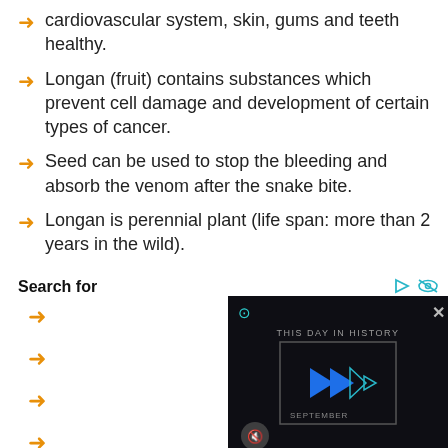cardiovascular system, skin, gums and teeth healthy.
Longan (fruit) contains substances which prevent cell damage and development of certain types of cancer.
Seed can be used to stop the bleeding and absorb the venom after the snake bite.
Longan is perennial plant (life span: more than 2 years in the wild).
Search for
[Figure (screenshot): Video overlay showing 'THIS DAY IN HISTORY' with blue play button logo and SEPTEMBER text, dark background, close button and mute button visible.]